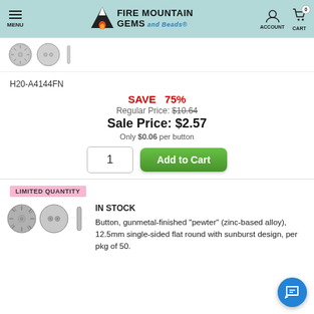Fire Mountain Gems and Beads — MENU | ACCOUNT | CART 0
[Figure (photo): Product thumbnail images of buttons at top of page]
H20-A4144FN
SAVE 75%
Regular Price: $10.64
Sale Price: $2.57
Only $0.06 per button
1  Add to Cart
LIMITED QUANTITY
IN STOCK
Button, gunmetal-finished "pewter" (zinc-based alloy), 12.5mm single-sided flat round with sunburst design, per pkg of 50.
[Figure (photo): Three views of a gunmetal-finished pewter button: front sunburst design, back with two holes, and edge/side view]